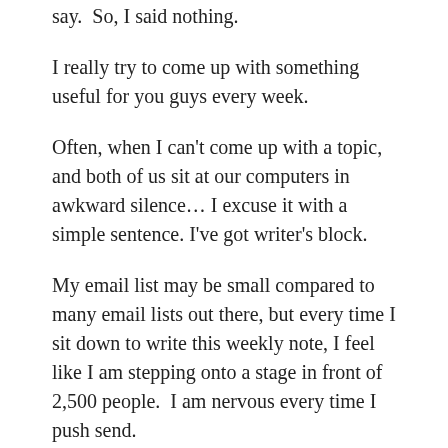say. So, I said nothing.
I really try to come up with something useful for you guys every week.
Often, when I can't come up with a topic, and both of us sit at our computers in awkward silence… I excuse it with a simple sentence. I've got writer's block.
My email list may be small compared to many email lists out there, but every time I sit down to write this weekly note, I feel like I am stepping onto a stage in front of 2,500 people. I am nervous every time I push send.
When I was filming Visual Latin, I felt the same way. I would get nervous in front of the camera. Who know how many kids could be